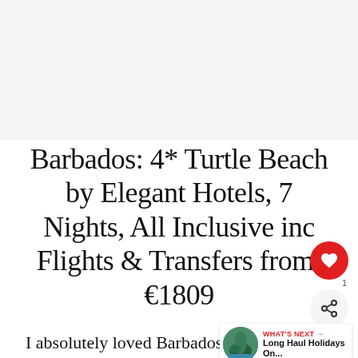Barbados: 4* Turtle Beach by Elegant Hotels, 7 Nights, All Inclusive inc Flights & Transfers from: €1809
I absolutely loved Barbados! There are people